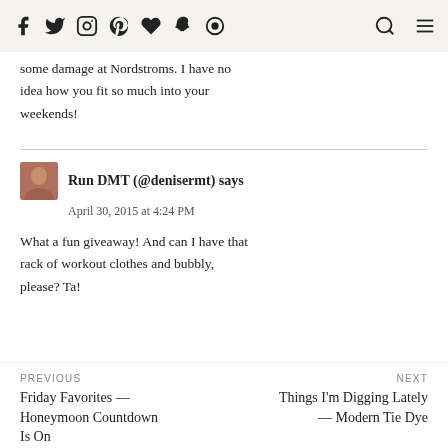Social nav icons, search, menu
some damage at Nordstroms. I have no idea how you fit so much into your weekends!
Run DMT (@denisermt) says
April 30, 2015 at 4:24 PM

What a fun giveaway! And can I have that rack of workout clothes and bubbly, please? Ta!
PREVIOUS
Friday Favorites — Honeymoon Countdown Is On
NEXT
Things I'm Digging Lately — Modern Tie Dye
RELATED POSTS